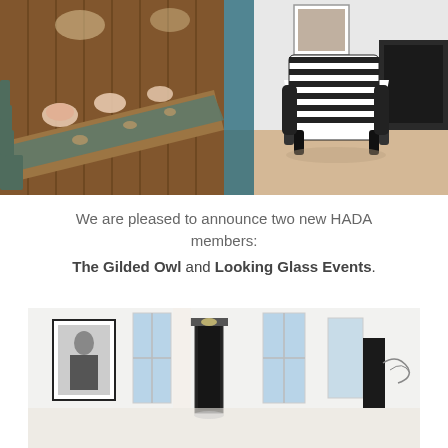[Figure (photo): Two side-by-side photos at top: left shows a long rustic banquet table with floral centerpieces and teal chairs; right shows a black-and-white striped lounge chair in a modern white room with a fireplace.]
We are pleased to announce two new HADA members: The Gilded Owl and Looking Glass Events.
[Figure (photo): Bottom photo showing a bright white interior gallery/event space with large windows, a framed portrait on the wall, tall glass display cases, and various art/furniture pieces.]